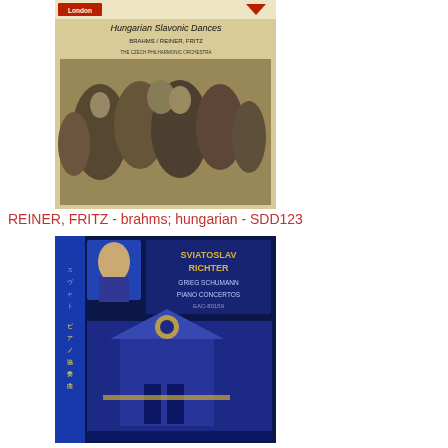[Figure (photo): Album cover for Hungarian Slavonic Dances, Reiner, Fritz. Beige/tan cover with crowd scene image.]
REINER, FRITZ - brahms; hungarian - SDD123
[Figure (photo): Album cover for Richter, Sviatoslav - grieg, schumann; piano concertos. Dark blue cover with Japanese text and ornate design.]
RICHTER, SVIATOSLAV - grieg, schumann; piano concertos - EAC-80159
[Figure (photo): Album cover for Rosenthal, Manuel - lalo; symphonie espagnole. Dark orange/brown circular design with blue side panel with Japanese text.]
ROSENTHAL, MANUEL - lalo; symphonie espagnole in op.21 - FH-31
[Figure (photo): Partially visible album cover at the bottom of the page.]